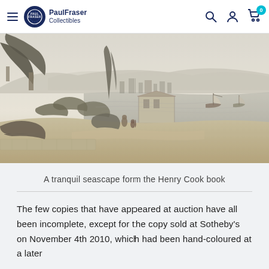PaulFraser Collectibles
[Figure (illustration): A tranquil seascape/landscape pencil or lithograph illustration from the Henry Cook book, showing trees in the foreground, a coastal town in the middle distance, and sailing ships on calm water under a hazy sky.]
A tranquil seascape form the Henry Cook book
The few copies that have appeared at auction have all been incomplete, except for the copy sold at Sotheby's on November 4th 2010, which had been hand-coloured at a later